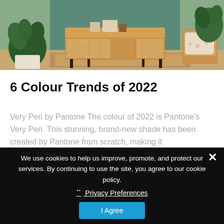[Figure (photo): Interior room photo showing wooden furniture, rattan sideboard, potted plants, and a rattan chair with cushion against a teal-green wall]
6 Colour Trends of 2022
Very Peri by Pantone The colour of 2022 is Pantone's Very Peri. This stunning, brand-new shade has been created by Pantone from scratch, making it
We use cookies to help us improve, promote, and protect our services. By continuing to use the site, you agree to our cookie policy.
❯ Privacy Preferences
I Agree